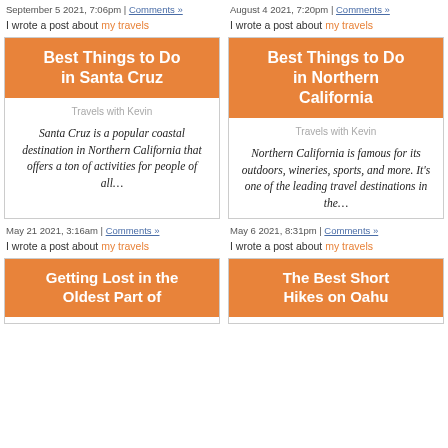September 5 2021, 7:06pm | Comments »
August 4 2021, 7:20pm | Comments »
I wrote a post about my travels
I wrote a post about my travels
[Figure (other): Blog post card for 'Best Things to Do in Santa Cruz' with orange banner, attribution 'Travels with Kevin', and excerpt about Santa Cruz being a popular coastal destination.]
[Figure (other): Blog post card for 'Best Things to Do in Northern California' with orange banner, attribution 'Travels with Kevin', and excerpt about Northern California being famous for outdoors, wineries, sports.]
May 21 2021, 3:16am | Comments »
May 6 2021, 8:31pm | Comments »
I wrote a post about my travels
I wrote a post about my travels
[Figure (other): Blog post card for 'Getting Lost in the Oldest Part of' with orange banner (truncated).]
[Figure (other): Blog post card for 'The Best Short Hikes on Oahu' with orange banner.]